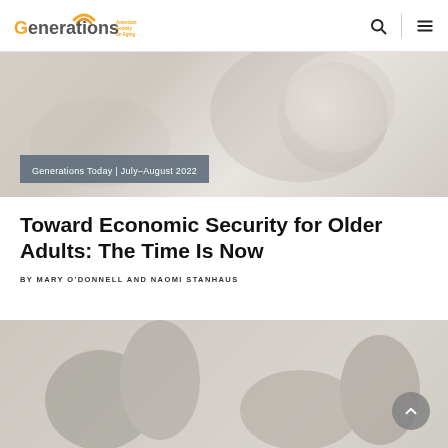Generations | American Society on Aging
[Figure (photo): Muted beige/gray background with a white bowl partially visible on the right — hero image for article]
Generations Today | July–August 2022
Toward Economic Security for Older Adults: The Time Is Now
BY MARY O'DONNELL AND NAOMI STANHAUS
[Figure (photo): Two people in a professional or office setting, partially visible at bottom of page]